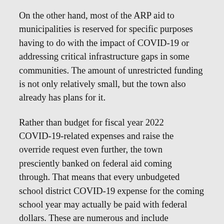On the other hand, most of the ARP aid to municipalities is reserved for specific purposes having to do with the impact of COVID-19 or addressing critical infrastructure gaps in some communities. The amount of unrestricted funding is not only relatively small, but the town also already has plans for it.
Rather than budget for fiscal year 2022 COVID-19-related expenses and raise the override request even further, the town presciently banked on federal aid coming through. That means that every unbudgeted school district COVID-19 expense for the coming school year may actually be paid with federal dollars. These are numerous and include COVID-19 testing regimens and the staff to support them, contact tracing costs, counseling for students and professional development for teachers to support student mental health, summer school and tutoring to address learning gaps, and —